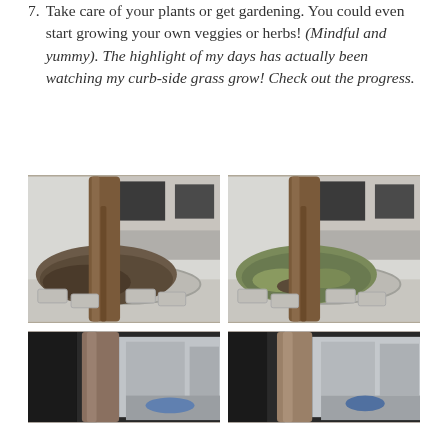7. Take care of your plants or get gardening. You could even start growing your own veggies or herbs! (Mindful and yummy). The highlight of my days has actually been watching my curb-side grass grow! Check out the progress.
[Figure (photo): Two side-by-side photos showing the base of a street tree in a curbed planter bed — left photo shows bare dirt/mulch, right photo shows green grass growing around the base, demonstrating grass growth progress.]
[Figure (photo): Two partial side-by-side photos at the bottom of the page showing the base of a tree near a building, partially cut off.]